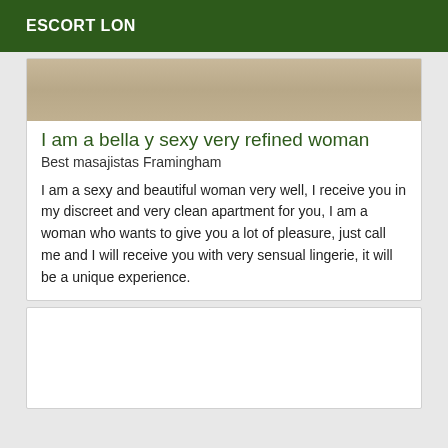ESCORT LON
[Figure (photo): Partial image showing lower body/feet of a person, beige/tan background with warm lighting and an orange vertical element on the right side]
I am a bella y sexy very refined woman
Best masajistas Framingham
I am a sexy and beautiful woman very well, I receive you in my discreet and very clean apartment for you, I am a woman who wants to give you a lot of pleasure, just call me and I will receive you with very sensual lingerie, it will be a unique experience.